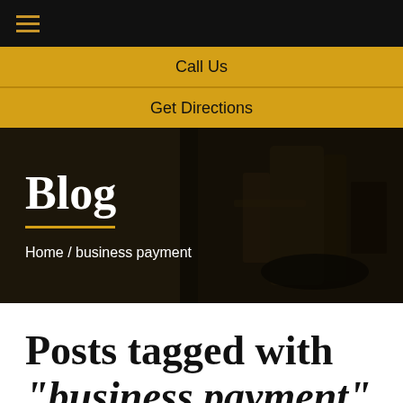≡ (hamburger menu icon)
Call Us
Get Directions
Blog
Home / business payment
Posts tagged with "business payment"